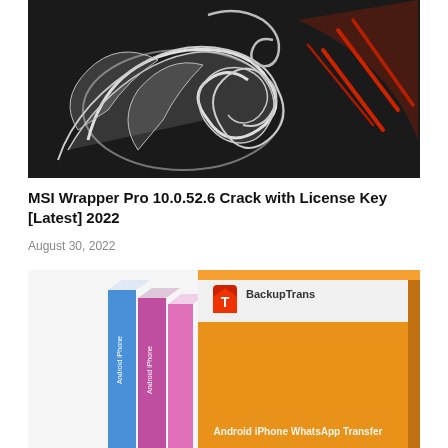[Figure (photo): MSI dragon logo on dark brushed background with red claw marks on right side]
MSI Wrapper Pro 10.0.52.6 Crack with License Key [Latest] 2022
August 30, 2022
[Figure (photo): BackupTrans software product box set showing Android iPhone WhatsApp Transfer, with multiple colored boxes (blue, pink, orange) on white background, partially cropped]